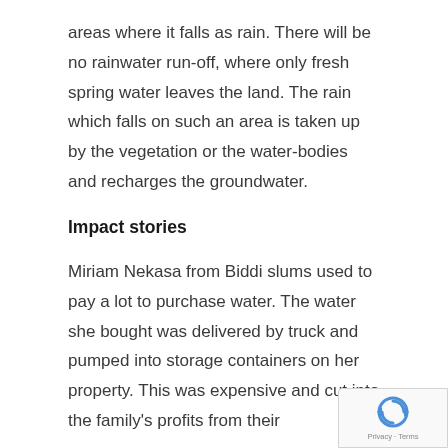areas where it falls as rain. There will be no rainwater run-off, where only fresh spring water leaves the land. The rain which falls on such an area is taken up by the vegetation or the water-bodies and recharges the groundwater.
Impact stories
Miriam Nekasa from Biddi slums used to pay a lot to purchase water. The water she bought was delivered by truck and pumped into storage containers on her property. This was expensive and cut into the family's profits from their